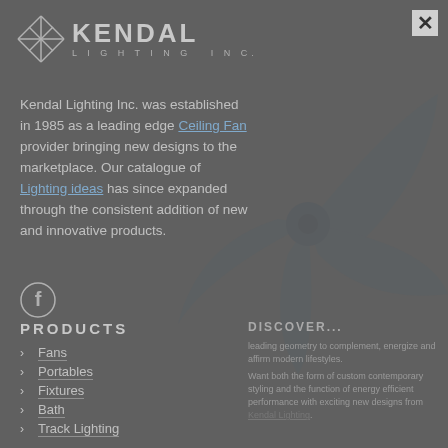[Figure (logo): Kendal Lighting Inc. logo with geometric diamond/star icon and text KENDAL LIGHTING INC.]
Kendal Lighting Inc. was established in 1985 as a leading edge Ceiling Fan provider bringing new designs to the marketplace. Our catalogue of Lighting ideas has since expanded through the consistent addition of new and innovative products.
[Figure (logo): Facebook social media icon (circle with F)]
PRODUCTS
Fans
Portables
Fixtures
Bath
Track Lighting
DISCOVER...
leading geometry to complement, energize and affirm modern lifestyles.
Want both the form of custom contemporary styling and the function of energy efficient performance with exciting new designs from Kendal Lighting.